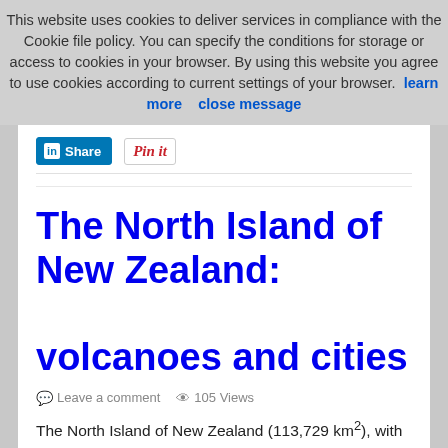This website uses cookies to deliver services in compliance with the Cookie file policy. You can specify the conditions for storage or access to cookies in your browser. By using this website you agree to use cookies according to current settings of your browser. learn more   close message
[Figure (other): LinkedIn Share button and Pinterest Pin It button]
The North Island of New Zealand: volcanoes and cities
Leave a comment  105 Views
The North Island of New Zealand (113,729 km²), with nearly four million inhabitants, is the most populated island